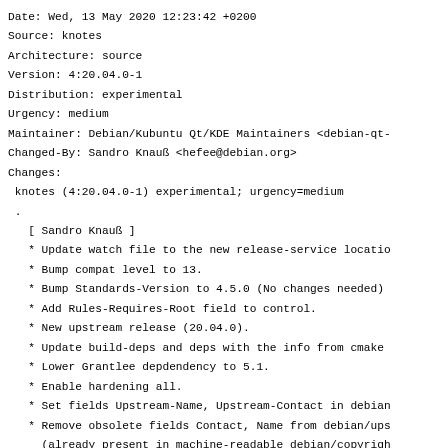Date: Wed, 13 May 2020 12:23:42 +0200
Source: knotes
Architecture: source
Version: 4:20.04.0-1
Distribution: experimental
Urgency: medium
Maintainer: Debian/Kubuntu Qt/KDE Maintainers <debian-qt-
Changed-By: Sandro Knauß <hefee@debian.org>
Changes:
 knotes (4:20.04.0-1) experimental; urgency=medium
 .
  [ Sandro Knauß ]
  * Update watch file to the new release-service locatio
  * Bump compat level to 13.
  * Bump Standards-Version to 4.5.0 (No changes needed)
  * Add Rules-Requires-Root field to control.
  * New upstream release (20.04.0).
  * Update build-deps and deps with the info from cmake
  * Lower Grantlee depdendency to 5.1.
  * Enable hardening all.
  * Set fields Upstream-Name, Upstream-Contact in debian
  * Remove obsolete fields Contact, Name from debian/ups
    (already present in machine-readable debian/copyrigh
Checksums-Sha1:
 4fd040ddc7133d44ae66bdc7ec706be94713fca0 3729 knotes_20
 fb1f5fdfaaba4fe032997af5574556ef57aeb4b6 320796 knotes_2
 ba3b6f60f1dedec22213b63a8c09ab3c0d98bc0f 488 knotes_20.0
 cae650603c53abdb88707101524c0ceb6c318d94 13572 knotes_20
 2c045b1490bc26c3223649b3e007200997c120c3 25474 knotes_20
Checksums-Sha256: